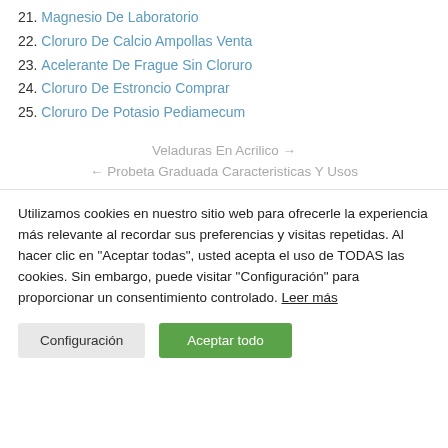21. Magnesio De Laboratorio
22. Cloruro De Calcio Ampollas Venta
23. Acelerante De Frague Sin Cloruro
24. Cloruro De Estroncio Comprar
25. Cloruro De Potasio Pediamecum
Veladuras En Acrilico →
← Probeta Graduada Caracteristicas Y Usos
Utilizamos cookies en nuestro sitio web para ofrecerle la experiencia más relevante al recordar sus preferencias y visitas repetidas. Al hacer clic en "Aceptar todas", usted acepta el uso de TODAS las cookies. Sin embargo, puede visitar "Configuración" para proporcionar un consentimiento controlado. Leer más
Configuración | Aceptar todo